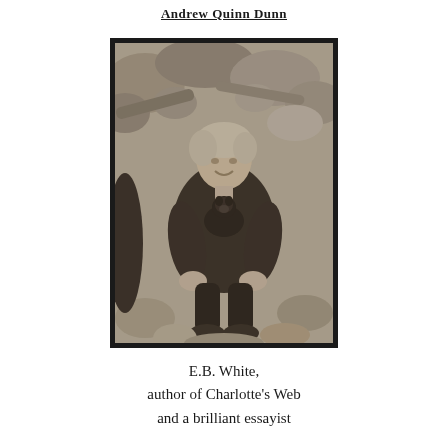Andrew Quinn Dunn
[Figure (photo): Black and white vintage photograph of a young E.B. White sitting on rocks outdoors, holding a small dark dog, wearing a dark sweater, smiling at the camera. Rocky beach background.]
E.B. White,
author of Charlotte's Web
and a brilliant essayist